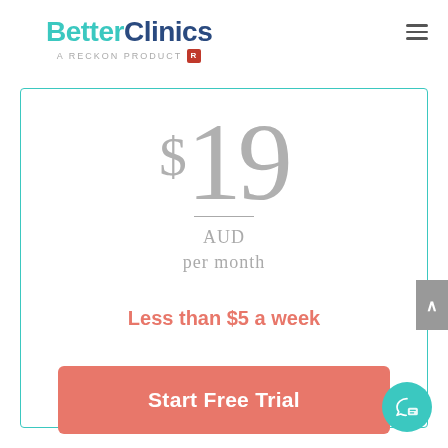[Figure (logo): BetterClinics logo - 'Better' in teal and 'Clinics' in dark navy blue, with subtitle 'A RECKON PRODUCT' and a red Reckon badge]
$19 AUD per month
Less than $5 a week
Start Free Trial